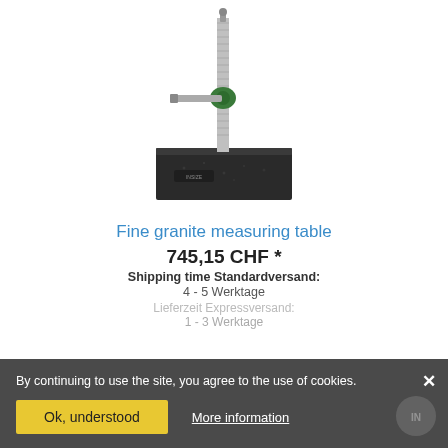[Figure (photo): A fine granite measuring table with a vertical column stand and adjustable horizontal arm with green fitting, mounted on a black granite base.]
Fine granite measuring table
745,15 CHF *
Shipping time Standardversand:
4 - 5 Werktage
Lieferzeit Expressversand:
1 - 3 Werktage
By continuing to use the site, you agree to the use of cookies.
Ok, understood
More information